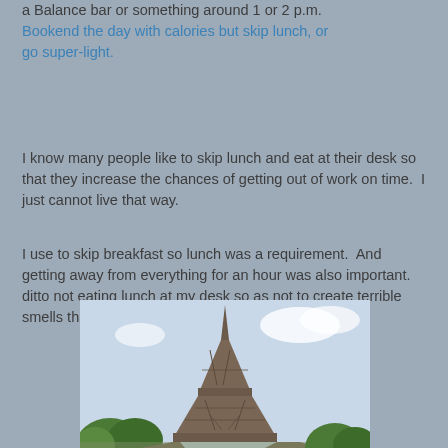a Balance bar or something around 1 or 2 p.m. Bookend the day with calories but skip lunch, or go super-light.
I know many people like to skip lunch and eat at their desk so that they increase the chances of getting out of work on time.  I just cannot live that way.
I use to skip breakfast so lunch was a requirement.  And getting away from everything for an hour was also important.  ditto not eating lunch at my desk so as not to create terrible smells that might offend co-workers.
[Figure (photo): Photo of the Eiffel Tower taken from a low angle looking up, with blue sky and green trees visible at the base.]